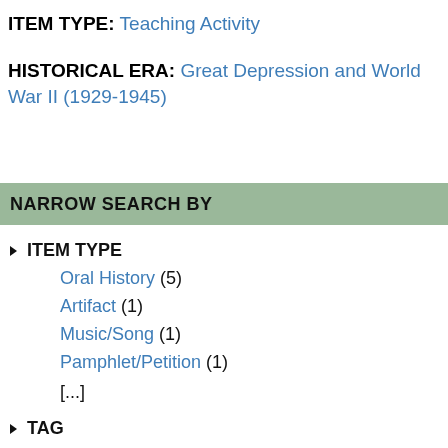ITEM TYPE: Teaching Activity
HISTORICAL ERA: Great Depression and World War II (1929-1945)
NARROW SEARCH BY
ITEM TYPE
Oral History (5)
Artifact (1)
Music/Song (1)
Pamphlet/Petition (1)
[...]
TAG